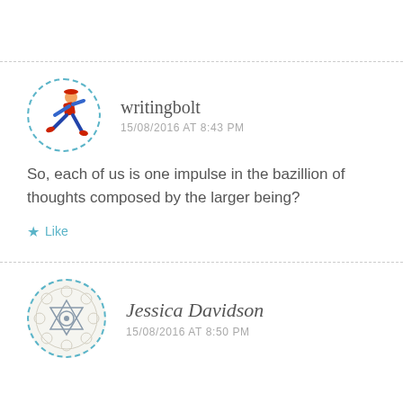[Figure (illustration): Running man avatar icon in a dashed circle border]
writingbolt
15/08/2016 AT 8:43 PM
So, each of us is one impulse in the bazillion of thoughts composed by the larger being?
Like
[Figure (illustration): Chakra/mandala symbol avatar in a dashed circle border]
Jessica Davidson
15/08/2016 AT 8:50 PM